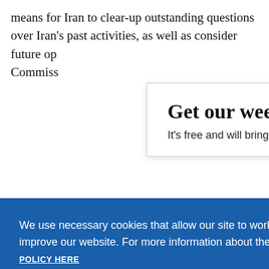means for Iran to clear-up outstanding questions over Iran's past activities, as well as consider future op Commiss
[Figure (screenshot): Email newsletter signup popup with title 'Get our weekly email' and subtitle 'It's free and will bring you the best from', with a close X button]
[Figure (screenshot): Cookie consent banner with blue background reading: 'We use necessary cookies that allow our site to work. We also set optional cookies that help us improve our website. For more information about the types of cookies we use. READ OUR COOKIES POLICY HERE' with COOKIE and ALLOW buttons]
[Figure (screenshot): Notification popup: 'War in Ukraine, six months on' with '11 hours ago' timestamp and X close button]
data.
establish